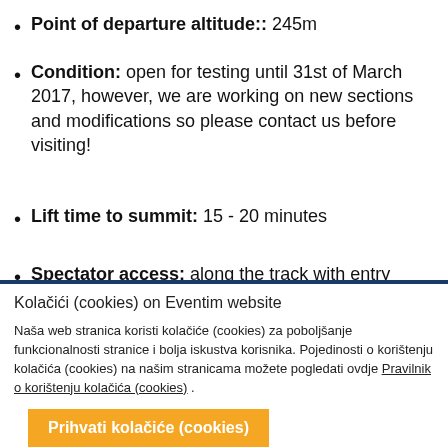Point of departure altitude:: 245m
Condition: open for testing until 31st of March 2017, however, we are working on new sections and modifications so please contact us before visiting!
Lift time to summit: 15 - 20 minutes
Spectator access: along the track with entry
Kolačići (cookies) on Eventim website
Naša web stranica koristi kolačiće (cookies) za poboljšanje funkcionalnosti stranice i bolja iskustva korisnika. Pojedinosti o korištenju kolačića (cookies) na našim stranicama možete pogledati ovdje Pravilnik o korištenju kolačića (cookies) .
Prihvati kolačiće (cookies)
Onemogući kolačiće (cookies)